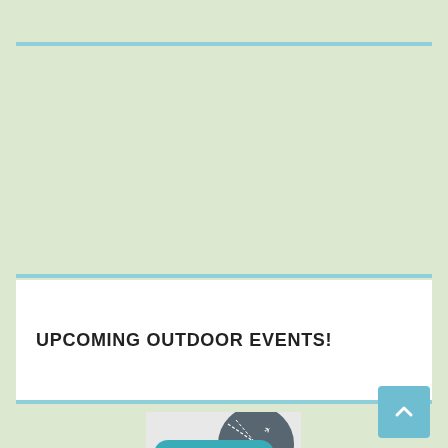UPCOMING OUTDOOR EVENTS!
[Figure (logo): Top UK Travel Blog badge logo with teal speech bubble and airplane trail graphic, with Discount text below]